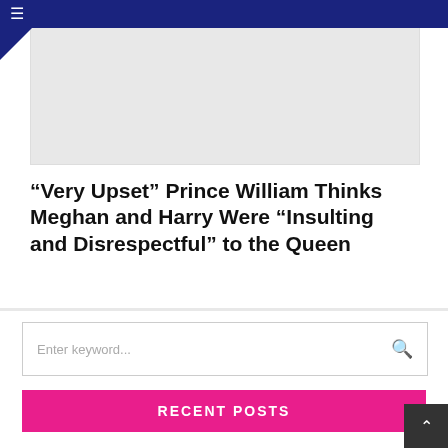[Figure (screenshot): Gray image placeholder box at top of page]
“Very Upset” Prince William Thinks Meghan and Harry Were “Insulting and Disrespectful” to the Queen
Enter keyword...
RECENT POSTS
Ghostwriter makes claim about Prince Harry’s earnings
Nicole Shanahan is yet to respond to the alleged affair with Elon